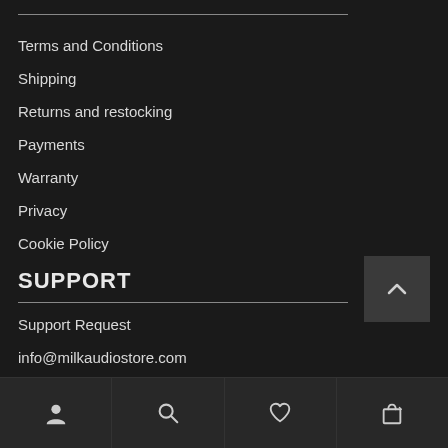Terms and Conditions
Shipping
Returns and restocking
Payments
Warranty
Privacy
Cookie Policy
SUPPORT
Support Request
info@milkaudiostore.com
+39 06 3050128
[Figure (other): Bottom navigation bar with person/account, search, heart/wishlist, and shopping bag icons]
[Figure (other): Scroll to top button with upward chevron arrow]